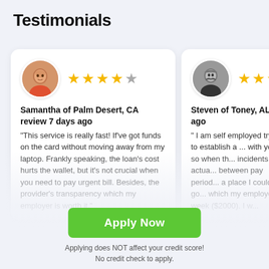Testimonials
Samantha of Palm Desert, CA review 7 days ago
"This service is really fast! If've got funds on the card without moving away from my laptop. Frankly speaking, the loan's cost hurts the wallet, but it's not crucial when you need to pay urgent bill. Besides, the provider's transparency which my employer... is worth it."
Steven of Toney, AL ... ago
" I am self employed trying to establish a ... with you so when th... incidents that actua... between pay period... a place I could go ... which my employe... week ($2000). I w...
Apply Now
Applying does NOT affect your credit score!
No credit check to apply.